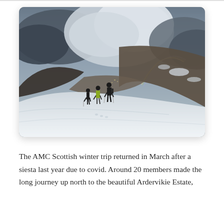[Figure (photo): Three hikers walking up a snow-covered hillside in Scotland. The sky is dramatic with dark storm clouds and a rainbow visible in the distance. Snowy slopes and dark hillsides stretch into the background valley.]
The AMC Scottish winter trip returned in March after a siesta last year due to covid. Around 20 members made the long journey up north to the beautiful Ardervikie Estate,